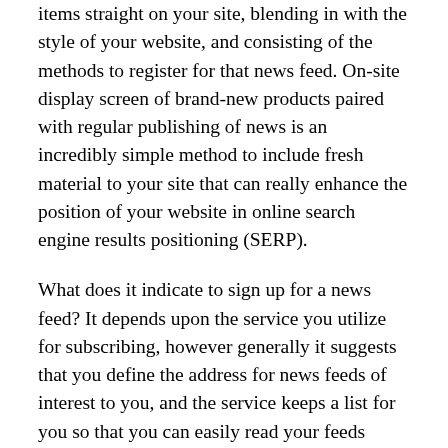items straight on your site, blending in with the style of your website, and consisting of the methods to register for that news feed. On-site display screen of brand-new products paired with regular publishing of news is an incredibly simple method to include fresh material to your site that can really enhance the position of your website in online search engine results positioning (SERP).
What does it indicate to sign up for a news feed? It depends upon the service you utilize for subscribing, however generally it suggests that you define the address for news feeds of interest to you, and the service keeps a list for you so that you can easily read your feeds whenever you desire ... with all the existing news revealed. With a MyYahoo individual page, you can register for notifies when products are published onto news feeds to which you subscribe, even by smart phone if you want.
Putting aside the apparent benefits of news feeds noted above, an essential concern to ask when assessing efficiency of the news versus the newsletter feed is whether the details